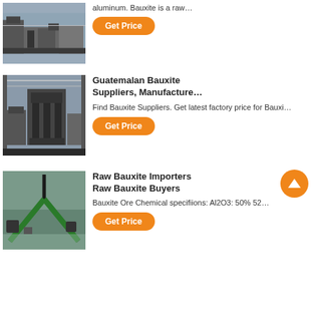[Figure (photo): Industrial factory/machine equipment photo (top, partially visible)]
aluminum. Bauxite is a raw…
Get Price
[Figure (photo): Industrial press machine in factory warehouse]
Guatemalan Bauxite Suppliers, Manufacture…
Find Bauxite Suppliers. Get latest factory price for Bauxi…
Get Price
[Figure (photo): Industrial flooring/conveyor system in factory]
Raw Bauxite Importers Raw Bauxite Buyers
Bauxite Ore Chemical specifiions: Al2O3: 50% 52…
Get Price